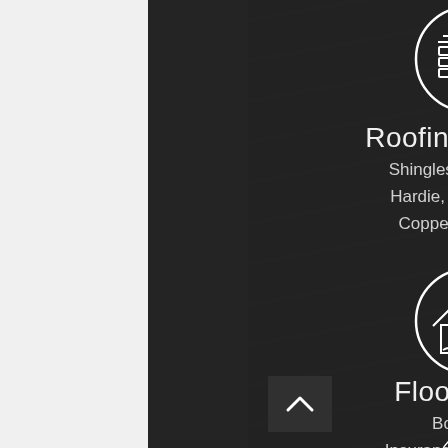[Figure (illustration): White line-art icon of roofing shingles and stacked materials inside a circle]
Roofing / Siding
Shingles, Flat, Metal,
Hardie, Vinyl, Metals
Copper, Aluminum
[Figure (illustration): White line-art icon of a house with fire/flood damage symbols inside a circle]
Flood / Fire
Board Up
Insurance Restoration
Rebuild
[Figure (illustration): Partial white circle icon visible at the bottom of the page]